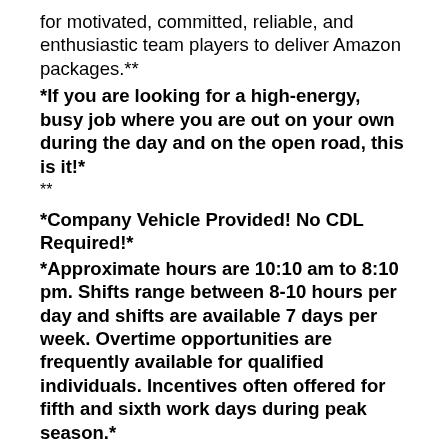for motivated, committed, reliable, and enthusiastic team players to deliver Amazon packages.**
*If you are looking for a high-energy, busy job where you are out on your own during the day and on the open road, this is it!*
**
*Company Vehicle Provided! No CDL Required!*
*Approximate hours are 10:10 am to 8:10 pm. Shifts range between 8-10 hours per day and shifts are available 7 days per week. Overtime opportunities are frequently available for qualified individuals. Incentives often offered for fifth and sixth work days during peak season.*
**